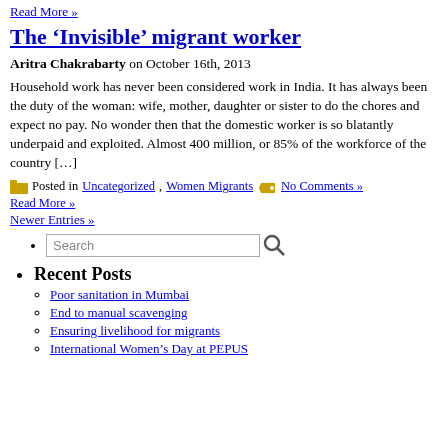Read More »
The ‘Invisible’ migrant worker
Aritra Chakrabarty on October 16th, 2013
Household work has never been considered work in India. It has always been the duty of the woman: wife, mother, daughter or sister to do the chores and expect no pay. No wonder then that the domestic worker is so blatantly underpaid and exploited. Almost 400 million, or 85% of the workforce of the country […]
Posted in Uncategorized, Women Migrants  No Comments »
Read More »
Newer Entries »
Search
Recent Posts
Poor sanitation in Mumbai
End to manual scavenging
Ensuring livelihood for migrants
International Women’s Day at PEPUS